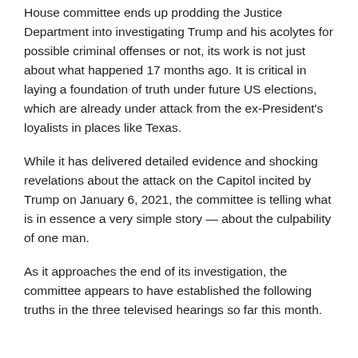House committee ends up prodding the Justice Department into investigating Trump and his acolytes for possible criminal offenses or not, its work is not just about what happened 17 months ago. It is critical in laying a foundation of truth under future US elections, which are already under attack from the ex-President's loyalists in places like Texas.
While it has delivered detailed evidence and shocking revelations about the attack on the Capitol incited by Trump on January 6, 2021, the committee is telling what is in essence a very simple story — about the culpability of one man.
As it approaches the end of its investigation, the committee appears to have established the following truths in the three televised hearings so far this month.